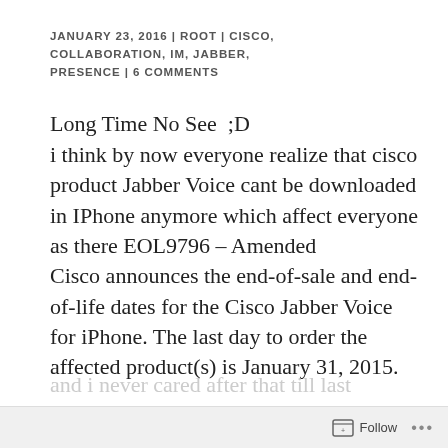JANUARY 23, 2016 | ROOT | CISCO, COLLABORATION, IM, JABBER, PRESENCE | 6 COMMENTS
Long Time No See  ;D
i think by now everyone realize that cisco product Jabber Voice cant be downloaded in IPhone anymore which affect everyone as there EOL9796 – Amended
Cisco announces the end-of-sale and end-of-life dates for the Cisco Jabber Voice for iPhone. The last day to order the affected product(s) is January 31, 2015.
and i never cared after that till last